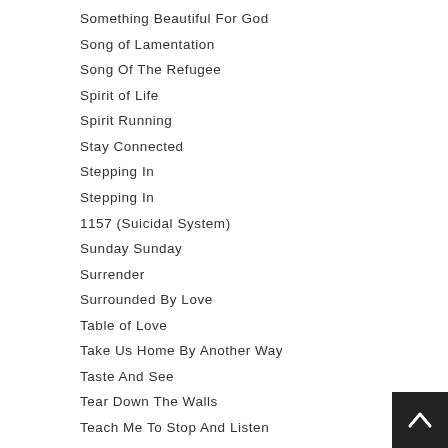Something Beautiful For God
Song of Lamentation
Song Of The Refugee
Spirit of Life
Spirit Running
Stay Connected
Stepping In
Stepping In
1157 (Suicidal System)
Sunday Sunday
Surrender
Surrounded By Love
Table of Love
Take Us Home By Another Way
Taste And See
Tear Down The Walls
Teach Me To Stop And Listen
Ten Commandments Song
The Blessing of Life Forevermore
The Song Is Alive